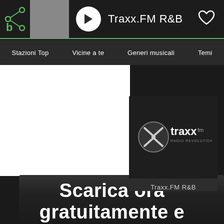[Figure (screenshot): Top navigation bar of a radio streaming app showing the Traxx.FM R&B station playing, with logo, album thumbnail, play button, station name, and heart/favorite icon]
Stazioni Top   Vicine a te   Generi musicali   Temi
[Figure (screenshot): Dropdown popup showing Traxx.FM logo on dark background with station name 'Traxx.FM R&B' below]
Traxx.FM R&B
Scarica ora gratuitamente e